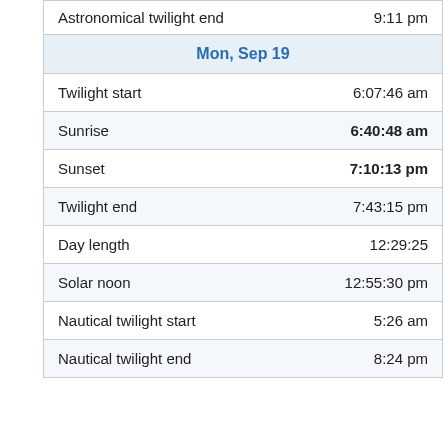| Astronomical twilight end | 9:11 pm |
| Mon, Sep 19 |  |
| Twilight start | 6:07:46 am |
| Sunrise | 6:40:48 am |
| Sunset | 7:10:13 pm |
| Twilight end | 7:43:15 pm |
| Day length | 12:29:25 |
| Solar noon | 12:55:30 pm |
| Nautical twilight start | 5:26 am |
| Nautical twilight end | 8:24 pm |